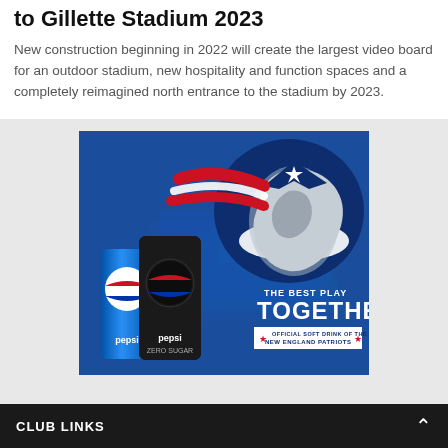to Gillette Stadium 2023
New construction beginning in 2022 will create the largest video board for an outdoor stadium, new hospitality and function spaces and a completely reimagined north entrance to the stadium by 2023.
[Figure (illustration): Pepsi and New England Patriots co-branded advertisement showing the Patriots logo, Pepsi and Pepsi Zero Sugar cans, with text 'THE BEST PLAY TOGETHER' and 'OFFICIAL SOFT DRINK OF THE NEW ENGLAND PATRIOTS']
CLUB LINKS